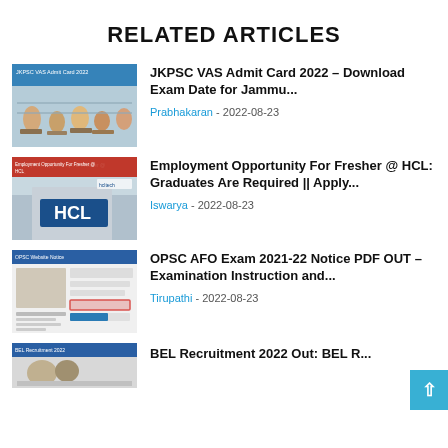RELATED ARTICLES
[Figure (photo): Students in examination hall with JKPSC VAS Admit Card 2022 overlay text]
JKPSC VAS Admit Card 2022 – Download Exam Date for Jammu...
Prabhakaran - 2022-08-23
[Figure (photo): HCL building exterior with Employment Opportunity For Fresher @ HCL banner]
Employment Opportunity For Fresher @ HCL: Graduates Are Required || Apply...
Iswarya - 2022-08-23
[Figure (screenshot): OPSC website screenshot with examination notice]
OPSC AFO Exam 2021-22 Notice PDF OUT – Examination Instruction and...
Tirupathi - 2022-08-23
[Figure (photo): BEL Recruitment 2022 thumbnail]
BEL Recruitment 2022 Out: BEL R...